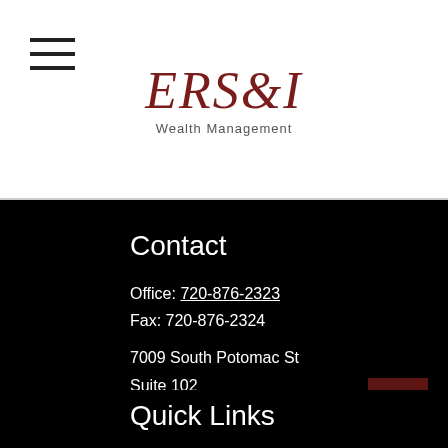[Figure (logo): ERSI Wealth Management logo with stylized italic red text and 'Wealth Management' subtitle]
Contact
Office: 720-876-2323
Fax: 720-876-2324
7009 South Potomac St
Suite 102
Centennial, CO 80112
info@ersiwealth.com
Quick Links